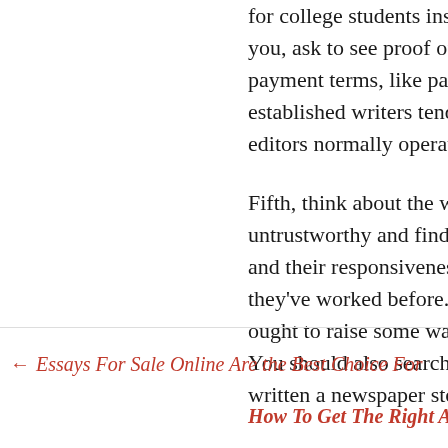for college students instead. To you, ask to see proof of previous payment terms, like pay per art established writers tend to pref editors normally operate on a p
Fifth, think about the writer's tr untrustworthy and find the righ and their responsiveness to dea they've worked before. A compa ought to raise some warning sig You should also search for proof written a newspaper story or a b
← Essays For Sale Online Are the Best Choice For
How To Get The Right Affo